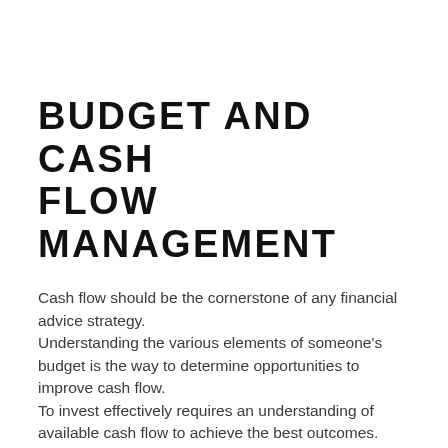BUDGET AND CASH FLOW MANAGEMENT
Cash flow should be the cornerstone of any financial advice strategy.
Understanding the various elements of someone's budget is the way to determine opportunities to improve cash flow.
To invest effectively requires an understanding of available cash flow to achieve the best outcomes.
Take the time, complete a realistic budget, the investment of time will pay dividends.